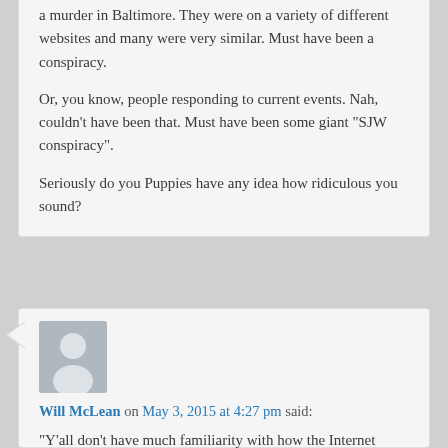a murder in Baltimore. They were on a variety of different websites and many were very similar. Must have been a conspiracy.
Or, you know, people responding to current events. Nah, couldn't have been that. Must have been some giant “SJW conspiracy”.
Seriously do you Puppies have any idea how ridiculous you sound?
[Figure (illustration): Default user avatar placeholder: grey rectangle with silhouette of a person (head circle and body shape) in lighter grey/white.]
Will McLean on May 3, 2015 at 4:27 pm said:
“Y’all don’t have much familiarity with how the Internet works these days, do ya? People who work for “News” websites are constantly checking